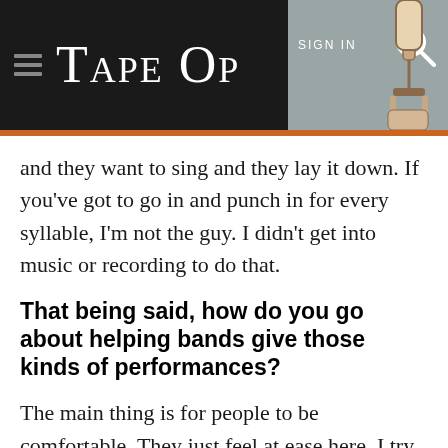TAPE OP — SIGN IN
and they want to sing and they lay it down. If you've got to go in and punch in for every syllable, I'm not the guy. I didn't get into music or recording to do that.
That being said, how do you go about helping bands give those kinds of performances?
The main thing is for people to be comfortable. They just feel at ease here. I try not to be uptight.
To matters thing...